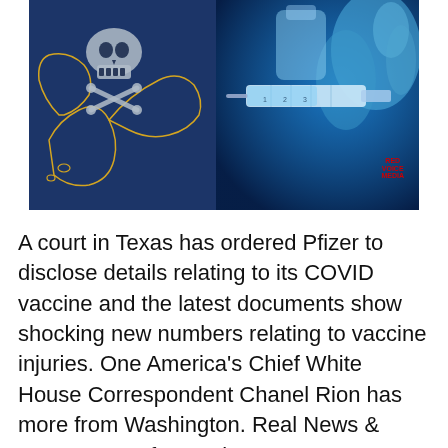[Figure (photo): Composite image with a skull and crossbones on a dark blue background with a yellow outline map on the left, and a close-up of a syringe/vaccine vial being handled in blue-lit medical setting on the right. Red watermark text 'Red Voice Media' in bottom right.]
A court in Texas has ordered Pfizer to disclose details relating to its COVID vaccine and the latest documents show shocking new numbers relating to vaccine injuries. One America's Chief White House Correspondent Chanel Rion has more from Washington. Real News & Commentary for Patriots:  https://www.redvoicemedia.com/ Join our Community: http://redvoicemedia.net/community Get Pr...